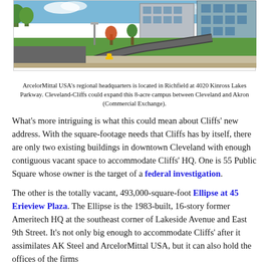[Figure (photo): Exterior photo of ArcelorMittal USA's regional headquarters building in Richfield, Ohio, showing a modern office campus with parking lot, curved driveway, green lawn, and trees under a blue sky.]
ArcelorMittal USA's regional headquarters is located in Richfield at 4020 Kinross Lakes Parkway. Cleveland-Cliffs could expand this 8-acre campus between Cleveland and Akron (Commercial Exchange).
What's more intriguing is what this could mean about Cliffs' new address. With the square-footage needs that Cliffs has by itself, there are only two existing buildings in downtown Cleveland with enough contiguous vacant space to accommodate Cliffs' HQ. One is 55 Public Square whose owner is the target of a federal investigation.
The other is the totally vacant, 493,000-square-foot Ellipse at 45 Erieview Plaza. The Ellipse is the 1983-built, 16-story former Ameritech HQ at the southeast corner of Lakeside Avenue and East 9th Street. It's not only big enough to accommodate Cliffs' after it assimilates AK Steel and ArcelorMittal USA, but it can also hold the offices of the firms